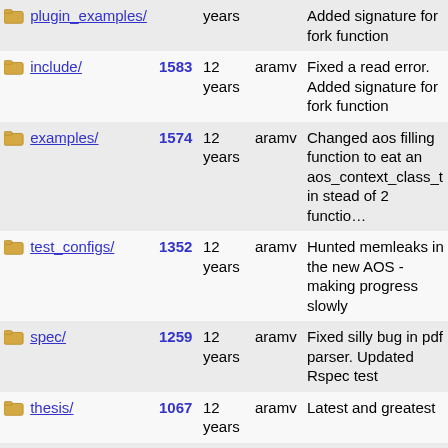| Name | Rev | Age | Author | Last log entry |
| --- | --- | --- | --- | --- |
| plugin_examples/ | 1583 (partial, cut off at top) | 12 years | aramv | Added signature for fork function |
| include/ | 1583 | 12 years | aramv | Fixed a read error. Added signature for fork function |
| examples/ | 1574 | 12 years | aramv | Changed aos filling function to eat an aos_context_class_t in stead of 2 functio... |
| test_configs/ | 1352 | 12 years | aramv | Hunted memleaks in the new AOS - making progress slowly |
| spec/ | 1259 | 12 years | aramv | Fixed silly bug in pdf parser. Updated Rspec test |
| thesis/ | 1067 | 12 years | aramv | Latest and greatest |
| presentation/ | 1066 | 12 years | aramv | Last and final version |
| m4/ | 873 | 12 years | aramv | Using proper m4 macros from the m4 archive |